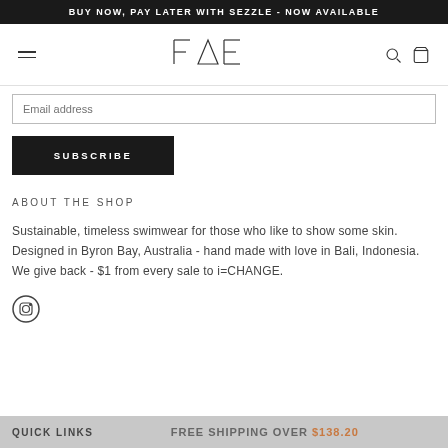BUY NOW, PAY LATER WITH SEZZLE - NOW AVAILABLE
[Figure (logo): FAE logo in center of navigation bar with hamburger menu on left and search/cart icons on right]
Email address input field
SUBSCRIBE
ABOUT THE SHOP
Sustainable, timeless swimwear for those who like to show some skin. Designed in Byron Bay, Australia - hand made with love in Bali, Indonesia. We give back - $1 from every sale to i=CHANGE.
[Figure (illustration): Instagram circle icon]
FREE SHIPPING OVER $138.20  QUICK LINKS